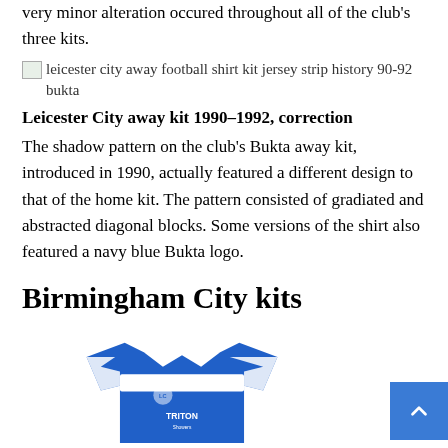very minor alteration occured throughout all of the club's three kits.
leicester city away football shirt kit jersey strip history 90-92 bukta
Leicester City away kit 1990–1992, correction
The shadow pattern on the club's Bukta away kit, introduced in 1990, actually featured a different design to that of the home kit. The pattern consisted of gradiated and abstracted diagonal blocks. Some versions of the shirt also featured a navy blue Bukta logo.
Birmingham City kits
[Figure (illustration): Birmingham City blue and white football shirt with Triton logo, partially visible at bottom of page]